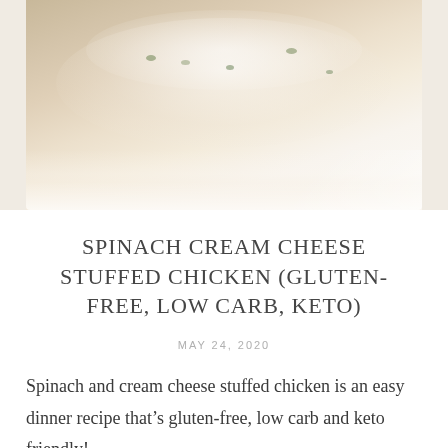[Figure (photo): Close-up photo of a baking dish with spinach cream cheese stuffed chicken, light and airy background with white fabric]
SPINACH CREAM CHEESE STUFFED CHICKEN (GLUTEN-FREE, LOW CARB, KETO)
MAY 24, 2020
Spinach and cream cheese stuffed chicken is an easy dinner recipe that's gluten-free, low carb and keto friendly! Oven baked, simple and deliciously